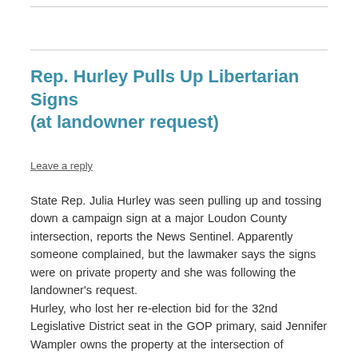Rep. Hurley Pulls Up Libertarian Signs (at landowner request)
Leave a reply
State Rep. Julia Hurley was seen pulling up and tossing down a campaign sign at a major Loudon County intersection, reports the News Sentinel. Apparently someone complained, but the lawmaker says the signs were on private property and she was following the landowner's request.
Hurley, who lost her re-election bid for the 32nd Legislative District seat in the GOP primary, said Jennifer Wampler owns the property at the intersection of